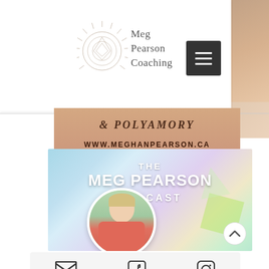[Figure (screenshot): Website screenshot of Meg Pearson Coaching showing navigation header with logo and hamburger menu, a banner with text '& POLYAMORY' and 'WWW.MEGHANPEARSON.CA', and The Meg Pearson Podcast promotional image with a woman's photo in a circle, plus a social media footer bar with email, Facebook, and Instagram icons.]